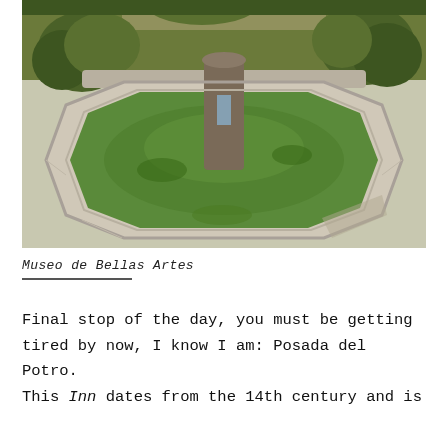[Figure (photo): Photograph of a stone octagonal fountain with green algae-covered water and a central cylindrical stone spout, surrounded by garden greenery and topiary bushes in the background. Located at Museo de Bellas Artes.]
Museo de Bellas Artes
Final stop of the day, you must be getting tired by now, I know I am: Posada del Potro. This Inn dates from the 14th century and is